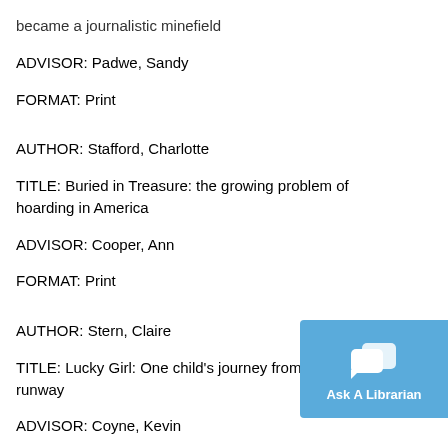became a journalistic minefield
ADVISOR: Padwe, Sandy
FORMAT: Print
AUTHOR: Stafford, Charlotte
TITLE: Buried in Treasure: the growing problem of hoarding in America
ADVISOR: Cooper, Ann
FORMAT: Print
AUTHOR: Stern, Claire
TITLE: Lucky Girl: One child's journey from roadside to runway
ADVISOR: Coyne, Kevin
FORMAT: Print
[Figure (other): Ask A Librarian chat button widget]
AUTHOR: Stone, Zara